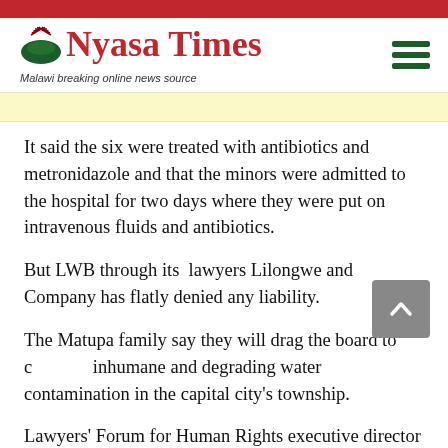[Figure (logo): Nyasa Times logo with sun graphic and tagline 'Malawi breaking online news source']
It said the six were treated with antibiotics and metronidazole and that the minors were admitted to the hospital for two days where they were put on intravenous fluids and antibiotics.
But LWB through its  lawyers Lilongwe and Company has flatly denied any liability.
The Matupa family say they will drag the board to court for inhumane and degrading water contamination in the capital city's township.
Lawyers' Forum for Human Rights executive director Chancy Mwalubunju is also taking a different legal action on behalf of other affected residents.